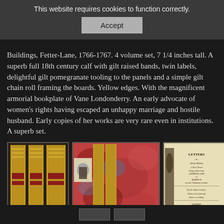This website requires cookies to function correctly.
Accept
Buildings, Fetter-Lane, 1766-1767. 4 volume set, 7 1/4 inches tall. A superb full 18th century calf with gilt raised bands, twin labels, delightful gilt pomegranate tooling to the panels and a simple gilt chain roll framing the boards. Yellow edges. With the magnificent armorial bookplate of Vane Londonderry. An early advocate of women's rights having escaped an unhappy marriage and hostile husband. Early copies of her works are very rare even in institutions. A superb set.
[Figure (photo): Three photographs of antique books: left shows three gilt-spined volumes standing upright, center shows a spread of books with marbled paper endpapers and a bookplate visible, right shows an open book with title page reading LETTERS.]